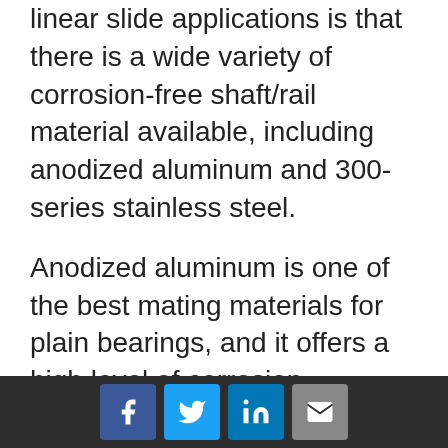linear slide applications is that there is a wide variety of corrosion-free shaft/rail material available, including anodized aluminum and 300-series stainless steel.
Anodized aluminum is one of the best mating materials for plain bearings, and it offers a high level of corrosion resistance. Other benefits include the fact that it is super lightweight and really easy to machine. While linear ball bearings require hardened steel and stainless shafting, typically 420 or 440 series, plain bearings can work perfectly on 304 or 316 materials — both of which are superior in wet and
Social share buttons: Facebook, Twitter, LinkedIn, Email